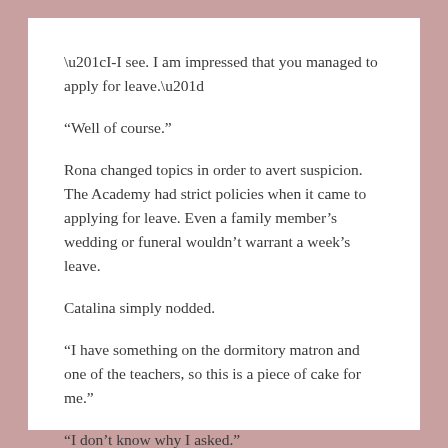“I-I see. I am impressed that you managed to apply for leave.”
“Well of course.”
Rona changed topics in order to avert suspicion. The Academy had strict policies when it came to applying for leave. Even a family member’s wedding or funeral wouldn’t warrant a week’s leave.
Catalina simply nodded.
“I have something on the dormitory matron and one of the teachers, so this is a piece of cake for me.”
“I don’t know why I asked.”
“Ahaha. It’s okay. It’s provided us with some convenience.”